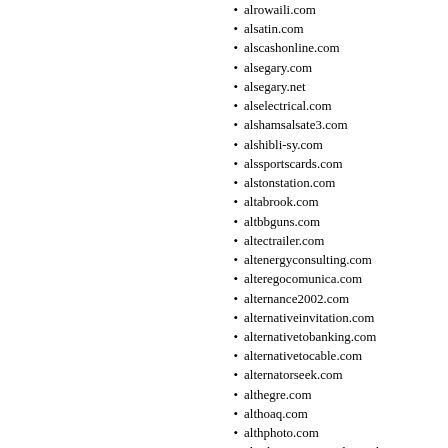alrowaili.com
alsatin.com
alscashonline.com
alsegary.com
alsegary.net
alselectrical.com
alshamsalsate3.com
alshibli-sy.com
alssportscards.com
alstonstation.com
altabrook.com
altbbguns.com
altectrailer.com
altenergyconsulting.com
alteregocomunica.com
alternance2002.com
alternativeinvitation.com
alternativetobanking.com
alternativetocable.com
alternatorseek.com
althegre.com
althoaq.com
althphoto.com
altinkumpropertieslimited.co
altmusiclyrics.net
altomanalyse.com
altonaje.com
altuscare.com